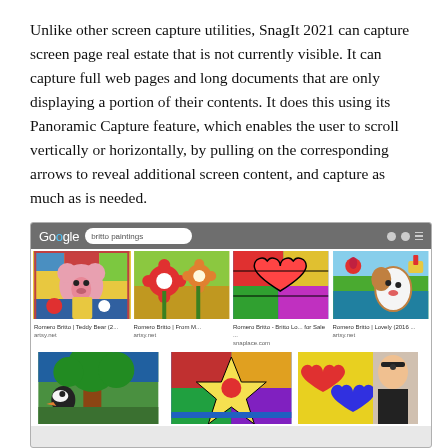Unlike other screen capture utilities, SnagIt 2021 can capture screen page real estate that is not currently visible. It can capture full web pages and long documents that are only displaying a portion of their contents. It does this using its Panoramic Capture feature, which enables the user to scroll vertically or horizontally, by pulling on the corresponding arrows to reveal additional screen content, and capture as much as is needed.
[Figure (screenshot): A Google Images search results page showing 'britto paintings' with colorful pop-art style paintings by Romero Britto arranged in a grid. The top row shows four images: Teddy Bear, Floral, Britto for Sale, and Lovely. A partial second row shows three more images of Britto paintings including a toucan scene, geometric shapes, and hearts.]